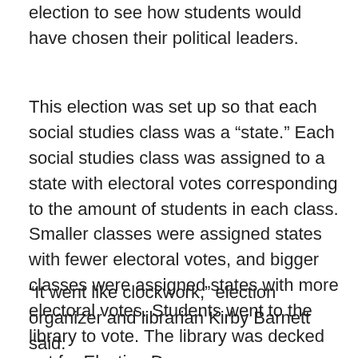election to see how students would have chosen their political leaders.
This election was set up so that each social studies class was a “state.” Each social studies class was assigned to a state with electoral votes corresponding to the amount of students in each class. Smaller classes were assigned states with fewer electoral votes, and bigger classes were assigned states with more electoral votes. Students went to the library to vote. The library was decked out for Election Day.
“It went like clockwork,” election organizer and librarian Kirby Barnett said.
As for the results, Obama won both the actual and mock election.  In the actual election, 51% of voters voted for